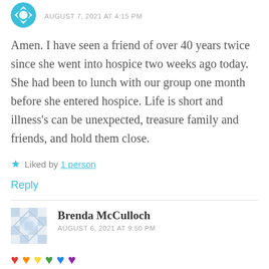AUGUST 7, 2021 AT 4:15 PM
Amen. I have seen a friend of over 40 years twice since she went into hospice two weeks ago today. She had been to lunch with our group one month before she entered hospice. Life is short and illness's can be unexpected, treasure family and friends, and hold them close.
Liked by 1 person
Reply
Brenda McCulloch
AUGUST 6, 2021 AT 9:50 PM